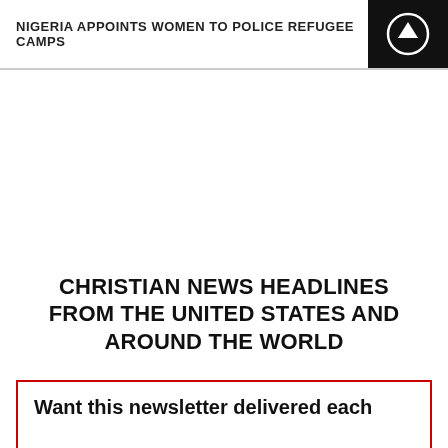NIGERIA APPOINTS WOMEN TO POLICE REFUGEE CAMPS
CHRISTIAN NEWS HEADLINES FROM THE UNITED STATES AND AROUND THE WORLD
Want this newsletter delivered each